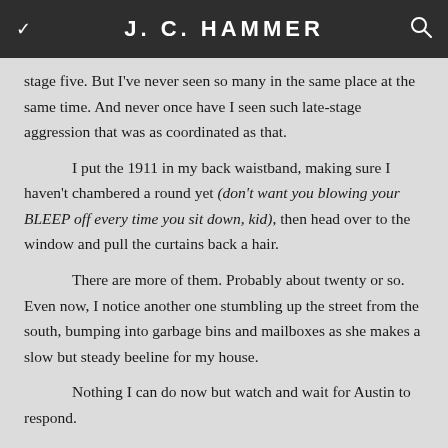J. C. HAMMER
stage five. But I've never seen so many in the same place at the same time. And never once have I seen such late-stage aggression that was as coordinated as that.
I put the 1911 in my back waistband, making sure I haven't chambered a round yet (don't want you blowing your BLEEP off every time you sit down, kid), then head over to the window and pull the curtains back a hair.
There are more of them. Probably about twenty or so. Even now, I notice another one stumbling up the street from the south, bumping into garbage bins and mailboxes as she makes a slow but steady beeline for my house.
Nothing I can do now but watch and wait for Austin to respond.